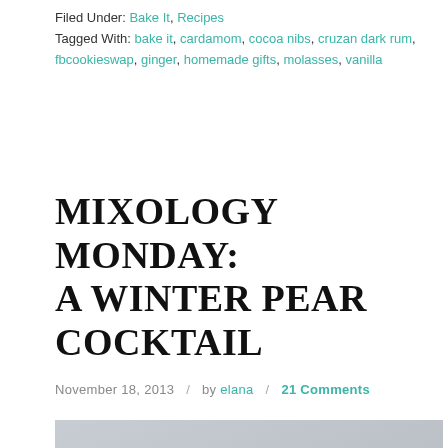Filed Under: Bake It, Recipes
Tagged With: bake it, cardamom, cocoa nibs, cruzan dark rum, fbcookieswap, ginger, homemade gifts, molasses, vanilla
MIXOLOGY MONDAY: A WINTER PEAR COCKTAIL
November 18, 2013 / by elana / 21 Comments
[Figure (photo): Photograph of a winter pear cocktail in a glass with a rosemary sprig garnish, on a grey-toned background]